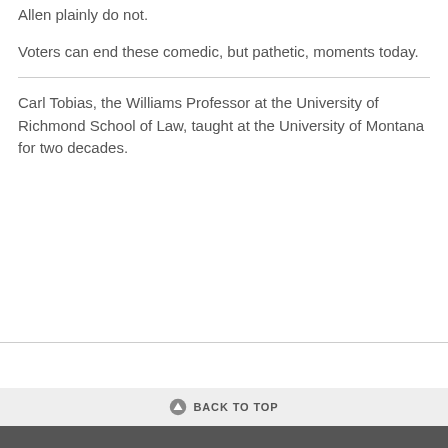Allen plainly do not.
Voters can end these comedic, but pathetic, moments today.
Carl Tobias, the Williams Professor at the University of Richmond School of Law, taught at the University of Montana for two decades.
BACK TO TOP